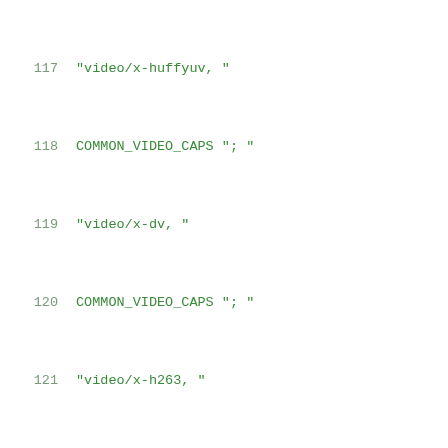117   "video/x-huffyuv, "
118   COMMON_VIDEO_CAPS "; "
119   "video/x-dv, "
120   COMMON_VIDEO_CAPS "; "
121   "video/x-h263, "
122   COMMON_VIDEO_CAPS "; "
123   "video/x-msmpeg, "
124   COMMON_VIDEO_CAPS "; "
125   "image/jpeg, "
126   COMMON_VIDEO_CAPS "; "
127   "video/x-theora; "
128   "video/x-dirac, "
129   COMMON_VIDEO_CAPS "; "
130   "video/x-pn-realvideo, "
131   "rmversion = (int) [1, 4], "
132   COMMON_VIDEO_CAPS "; "
133   "video/x-vp8, "
134   COMMON_VIDEO_CAPS "; "
135   "video/x-vp9, "
136   COMMON_VIDEO_CAPS "; "
137   "video/x-raw, "